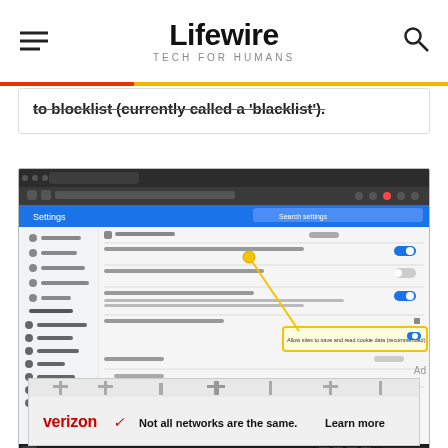Lifewire TECH FOR HUMANS
to blocklist (currently called a 'blacklist').
[Figure (screenshot): Chrome browser Settings page showing Cookies and site data section with 'Allow sites to save and read cookie data (recommended)' toggle highlighted in a yellow box with an annotation arrow pointing to it.]
Ad
[Figure (other): Verizon advertisement banner reading 'Not all networks are the same. Learn more']